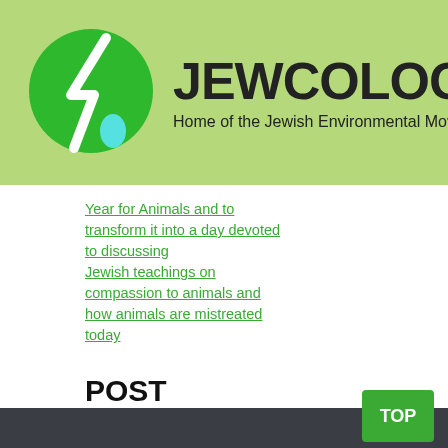JEWCOLOGY.ORG – Home of the Jewish Environmental Movement
Year for Animals and to transform it into a day devoted to discussing Jewish teachings on compassion to animals and how animals are mistreated today
POST ARCHIVES
Select Month (dropdown)
TOP